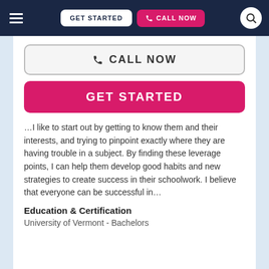GET STARTED | CALL NOW
📞 CALL NOW
GET STARTED
…I like to start out by getting to know them and their interests, and trying to pinpoint exactly where they are having trouble in a subject. By finding these leverage points, I can help them develop good habits and new strategies to create success in their schoolwork. I believe that everyone can be successful in…
Education & Certification
University of Vermont - Bachelors